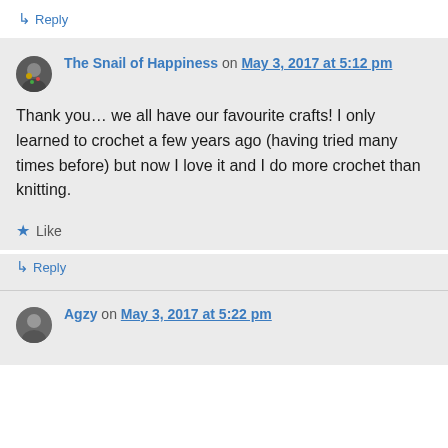↳ Reply
The Snail of Happiness on May 3, 2017 at 5:12 pm
Thank you… we all have our favourite crafts! I only learned to crochet a few years ago (having tried many times before) but now I love it and I do more crochet than knitting.
★ Like
↳ Reply
Agzy on May 3, 2017 at 5:22 pm